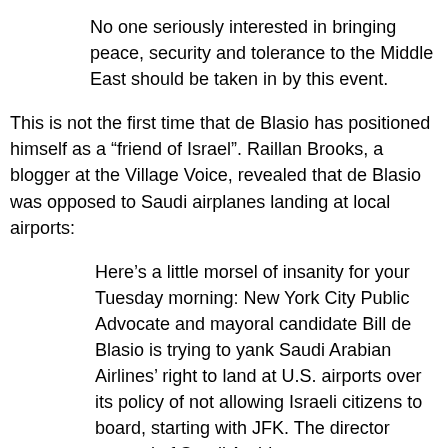No one seriously interested in bringing peace, security and tolerance to the Middle East should be taken in by this event.
This is not the first time that de Blasio has positioned himself as a “friend of Israel”. Raillan Brooks, a blogger at the Village Voice, revealed that de Blasio was opposed to Saudi airplanes landing at local airports:
Here’s a little morsel of insanity for your Tuesday morning: New York City Public Advocate and mayoral candidate Bill de Blasio is trying to yank Saudi Arabian Airlines’ right to land at U.S. airports over its policy of not allowing Israeli citizens to board, starting with JFK. The director general of Saudi Arabian